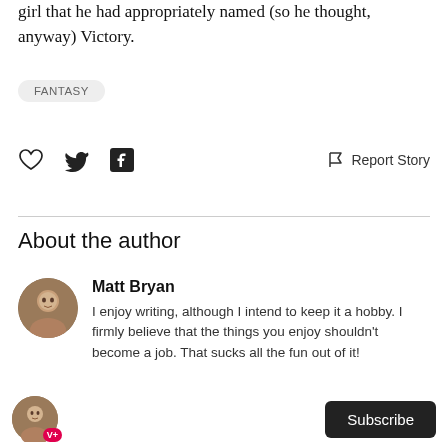girl that he had appropriately named (so he thought, anyway) Victory.
FANTASY
[Figure (infographic): Social sharing icons: heart (like), Twitter bird, Facebook logo, and Report Story flag icon with text]
About the author
[Figure (photo): Circular profile photo of Matt Bryan]
Matt Bryan
I enjoy writing, although I intend to keep it a hobby. I firmly believe that the things you enjoy shouldn't become a job. That sucks all the fun out of it!
[Figure (infographic): Bottom bar with author avatar with V+ badge and Subscribe button]